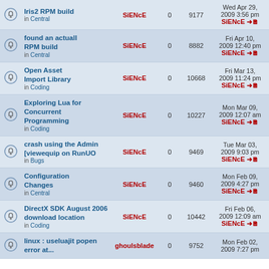|  | Topic | Author | Replies | Views | Last Post |
| --- | --- | --- | --- | --- | --- |
|  | Iris2 RPM build
in Central | SiENcE | 0 | 9177 | Wed Apr 29, 2009 3:56 pm
SiENcE |
|  | found an actuall RPM build
in Central | SiENcE | 0 | 8882 | Fri Apr 10, 2009 12:40 pm
SiENcE |
|  | Open Asset Import Library
in Coding | SiENcE | 0 | 10668 | Fri Mar 13, 2009 11:24 pm
SiENcE |
|  | Exploring Lua for Concurrent Programming
in Coding | SiENcE | 0 | 10227 | Mon Mar 09, 2009 12:07 am
SiENcE |
|  | crash using the Admin [viewequip on RunUO
in Bugs | SiENcE | 0 | 9469 | Tue Mar 03, 2009 9:03 pm
SiENcE |
|  | Configuration Changes
in Central | SiENcE | 0 | 9460 | Mon Feb 09, 2009 4:27 pm
SiENcE |
|  | DirectX SDK August 2006 download location
in Coding | SiENcE | 0 | 10442 | Fri Feb 06, 2009 12:09 am
SiENcE |
|  | linux : useluajit popen error at... | ghoulsblade | 0 | 9752 | Mon Feb 02, 2009 7:27 pm |